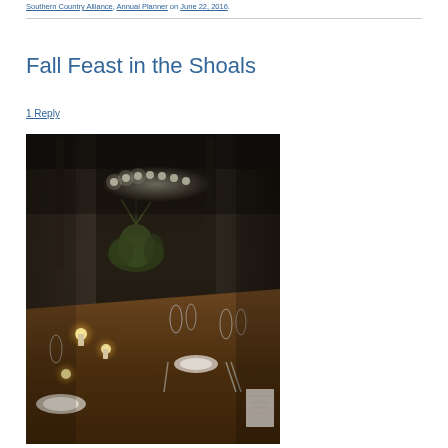Southern Country Alliance, Annual Planner on June 22, 2016
Fall Feast in the Shoals
1 Reply
[Figure (photo): Indoor barn dinner table set with candles, glassware, plates, and floral centerpiece with string lights visible in background]